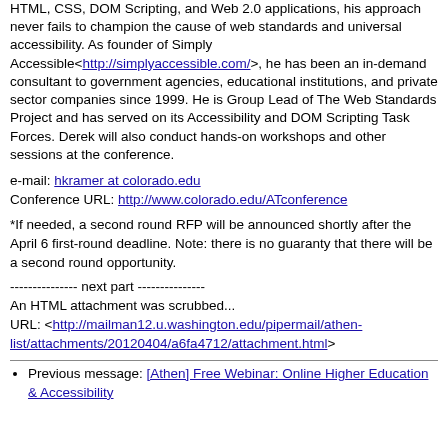HTML, CSS, DOM Scripting, and Web 2.0 applications, his approach never fails to champion the cause of web standards and universal accessibility. As founder of Simply Accessible<http://simplyaccessible.com/>, he has been an in-demand consultant to government agencies, educational institutions, and private sector companies since 1999. He is Group Lead of The Web Standards Project and has served on its Accessibility and DOM Scripting Task Forces. Derek will also conduct hands-on workshops and other sessions at the conference.
e-mail: hkramer at colorado.edu
Conference URL: http://www.colorado.edu/ATconference
*If needed, a second round RFP will be announced shortly after the April 6 first-round deadline. Note: there is no guaranty that there will be a second round opportunity.
--------------- next part ---------------
An HTML attachment was scrubbed...
URL: <http://mailman12.u.washington.edu/pipermail/athen-list/attachments/20120404/a6fa4712/attachment.html>
Previous message: [Athen] Free Webinar: Online Higher Education & Accessibility